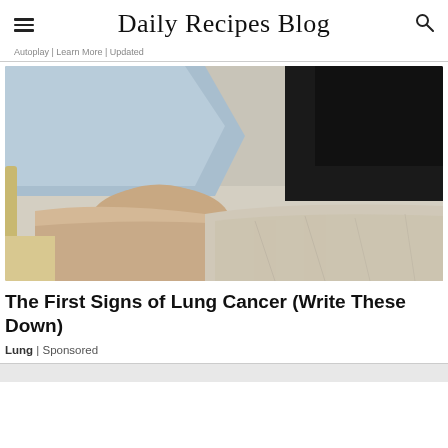Daily Recipes Blog
Autoplay | Learn More | Updated
[Figure (photo): A medical professional pointing at a patient's ankle/leg, examining it on what appears to be a hospital bed or examination table. The doctor wears a light blue shirt and the patient's leg is resting on a beige surface.]
The First Signs of Lung Cancer (Write These Down)
Lung | Sponsored